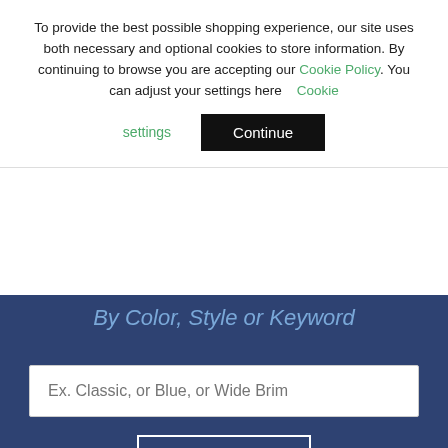To provide the best possible shopping experience, our site uses both necessary and optional cookies to store information. By continuing to browse you are accepting our Cookie Policy. You can adjust your settings here   Cookie settings
[Figure (screenshot): Cookie consent banner with Continue button and Cookie settings link]
By Color, Style or Keyword
[Figure (screenshot): Search input field with placeholder 'Ex. Classic, or Blue, or Wide Brim' and a Go button on dark blue background]
SUBSCRIBE & SAVE
Join us and we'll keep you in the loop with our